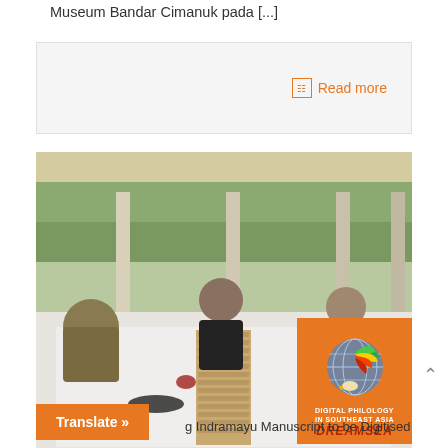Museum Bandar Cimanuk pada [...]
[Figure (other): Read more link box with orange text and icon on grey background]
[Figure (photo): People sitting on a white sheet on a tiled floor in an open pavilion, examining a long palm-leaf manuscript laid out between them. A DREAMSEA logo overlay appears in the lower right corner.]
g Indramayu Manuscript to be Digitised
Translate »